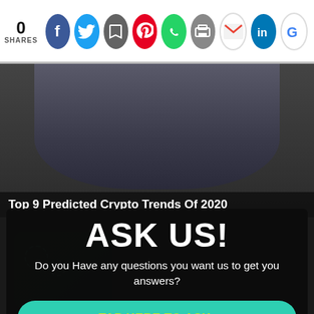0 SHARES
[Figure (screenshot): Social sharing bar with icons: Facebook, Twitter, Save, Pinterest, WhatsApp, Print, Gmail, LinkedIn, Google]
[Figure (photo): Article card image showing: Top 9 Predicted Crypto Trends Of 2020]
ASK US!
Do you Have any questions you want us to get you answers?
TAP HERE TO ASK:
No Thanks!
What Exactly Are NFTs? A Guide To Non-fungible Tokens